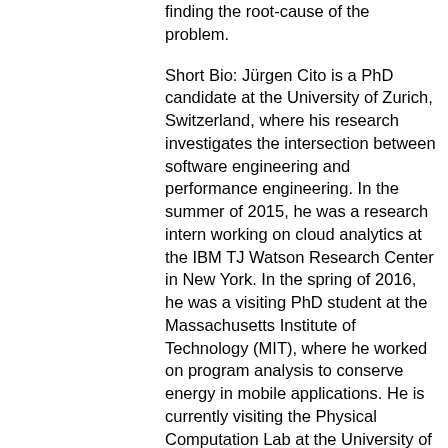finding the root-cause of the problem.
Short Bio: Jürgen Cito is a PhD candidate at the University of Zurich, Switzerland, where his research investigates the intersection between software engineering and performance engineering. In the summer of 2015, he was a research intern working on cloud analytics at the IBM TJ Watson Research Center in New York. In the spring of 2016, he was a visiting PhD student at the Massachusetts Institute of Technology (MIT), where he worked on program analysis to conserve energy in mobile applications. He is currently visiting the Physical Computation Lab at the University of Cambridge. Prior to starting his PhD, Jürgen was a software engineer for performance monitoring solutions at Catchpoint